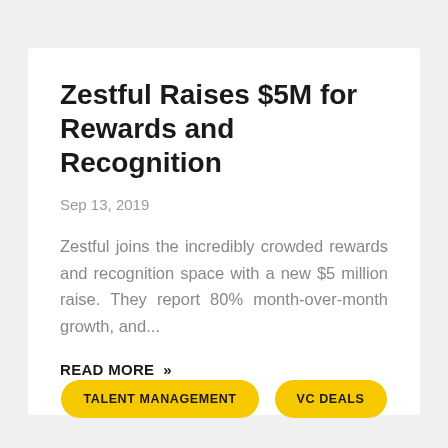Zestful Raises $5M for Rewards and Recognition
Sep 13, 2019
Zestful joins the incredibly crowded rewards and recognition space with a new $5 million raise. They report 80% month-over-month growth, and...
READ MORE »
TALENT MANAGEMENT
VC DEALS